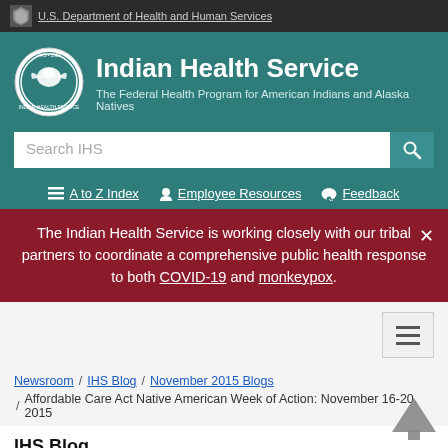U.S. Department of Health and Human Services
Indian Health Service
The Federal Health Program for American Indians and Alaska Natives
Search IHS
A to Z Index   Employee Resources   Feedback
The Indian Health Service is working closely with our tribal partners to coordinate a comprehensive public health response to both COVID-19 and monkeypox.
Newsroom / IHS Blog / November 2015 Blogs / Affordable Care Act Native American Week of Action: November 16-20, 2015
IHS Blog
Announcements